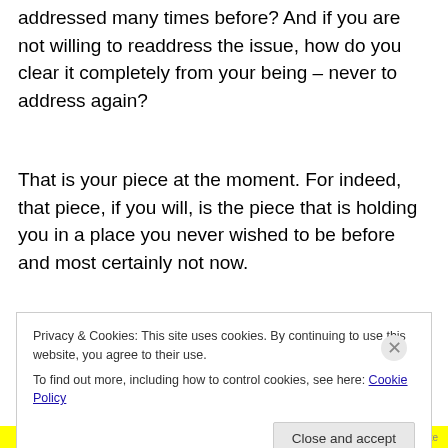addressed many times before? And if you are not willing to readdress the issue, how do you clear it completely from your being – never to address again?
That is your piece at the moment. For indeed, that piece, if you will, is the piece that is holding you in a place you never wished to be before and most certainly not now.
So it is we suggest you look at that piece intently to
Privacy & Cookies: This site uses cookies. By continuing to use this website, you agree to their use.
To find out more, including how to control cookies, see here: Cookie Policy
Close and accept